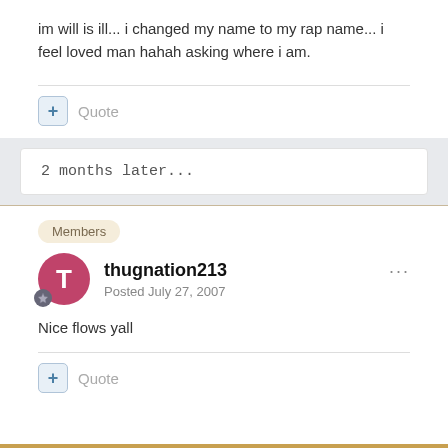im will is ill... i changed my name to my rap name... i feel loved man hahah asking where i am.
Quote
2 months later...
Members
thugnation213
Posted July 27, 2007
Nice flows yall
Quote